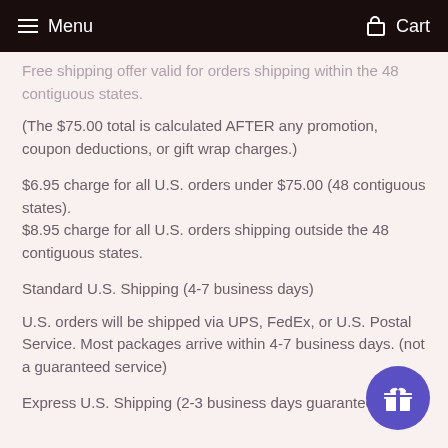Menu   Cart
Free shipping offer valid for orders shipping within the 48 contiguous states.
(The $75.00 total is calculated AFTER any promotion, coupon deductions, or gift wrap charges.)
$6.95 charge for all U.S. orders under $75.00 (48 contiguous states).
$8.95 charge for all U.S. orders shipping outside the 48 contiguous states.
Standard U.S. Shipping (4-7 business days)
U.S. orders will be shipped via UPS, FedEx, or U.S. Postal Service. Most packages arrive within 4-7 business days. (not a guaranteed service)
Express U.S. Shipping (2-3 business days guaranteed)